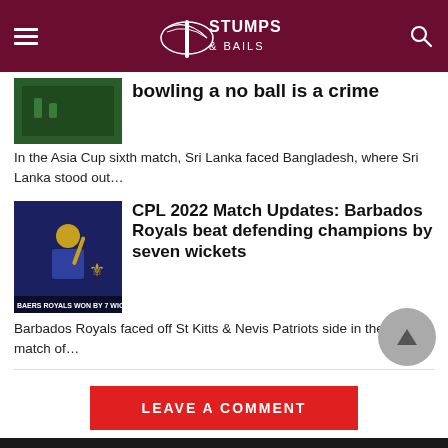Stumps & Bails
bowling a no ball is a crime
In the Asia Cup sixth match, Sri Lanka faced Bangladesh, where Sri Lanka stood out…
CPL 2022 Match Updates: Barbados Royals beat defending champions by seven wickets
Barbados Royals faced off St Kitts & Nevis Patriots side in the third match of…
LEAVE A COMMENT
Social share buttons: Twitter, Email, Pinterest, LinkedIn, WhatsApp, Line